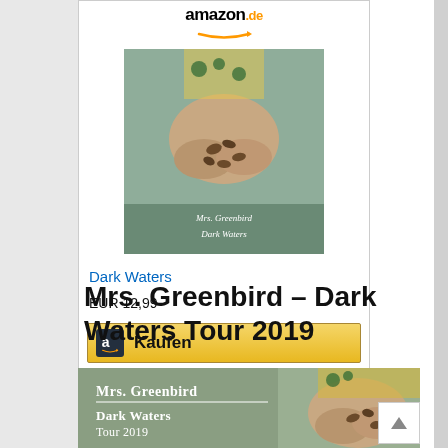[Figure (screenshot): Amazon.de logo with orange arrow]
[Figure (photo): Book cover for Dark Waters by Mrs. Greenbird showing hands holding coffee beans, teal/green color scheme]
Dark Waters
EUR 12,99
[Figure (screenshot): Amazon Kaufen (buy) button with Amazon logo icon and yellow/gold gradient background]
Mrs. Greenbird – Dark Waters Tour 2019
[Figure (photo): Mrs. Greenbird Dark Waters Tour 2019 promotional banner with sage green background, white serif text, and person holding coffee beans visible on right side]